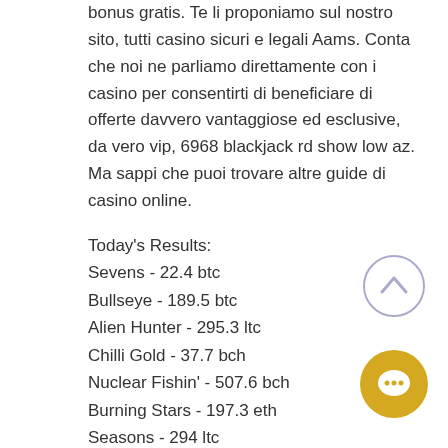bonus gratis. Te li proponiamo sul nostro sito, tutti casino sicuri e legali Aams. Conta che noi ne parliamo direttamente con i casino per consentirti di beneficiare di offerte davvero vantaggiose ed esclusive, da vero vip, 6968 blackjack rd show low az. Ma sappi che puoi trovare altre guide di casino online.
Today's Results:
Sevens - 22.4 btc
Bullseye - 189.5 btc
Alien Hunter - 295.3 ltc
Chilli Gold - 37.7 bch
Nuclear Fishin' - 507.6 bch
Burning Stars - 197.3 eth
Seasons - 294 ltc
Chibeasties - 438.1 dog
Genies Gems - 702.4 dog
Jingle Jingle - 720.2 ltc
Horror Castle - 652.5 ltc
Sticky Diamonds Red Hot Firepot - 251... usdt